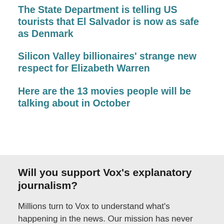The State Department is telling US tourists that El Salvador is now as safe as Denmark
Silicon Valley billionaires’ strange new respect for Elizabeth Warren
Here are the 13 movies people will be talking about in October
Will you support Vox’s explanatory journalism?
Millions turn to Vox to understand what’s happening in the news. Our mission has never been more vital than it is in this moment: to empower through understanding. Financial